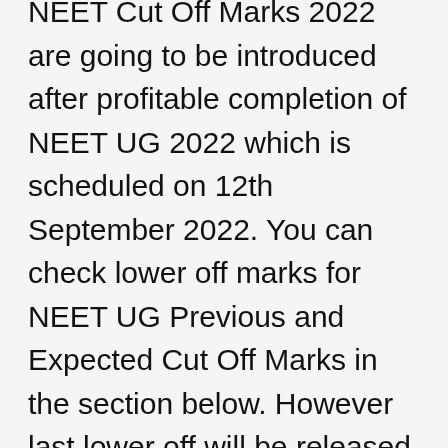NEET Cut Off Marks 2022 are going to be introduced after profitable completion of NEET UG 2022 which is scheduled on 12th September 2022. You can check lower off marks for NEET UG Previous and Expected Cut Off Marks in the section below. However last lower off will be released by neet.nta.nic.in for UG Admissions in MBBS. Students who score above NEET UG Cut Off Marks 2022 will be eligible for counseling rounds and seat allotment. Below we have complete info on NEET Expected Cut Off Marks and Previous Cut Off Trends of NEET UG. In addition, you can check steps to see NEET 2022 Cut Off,